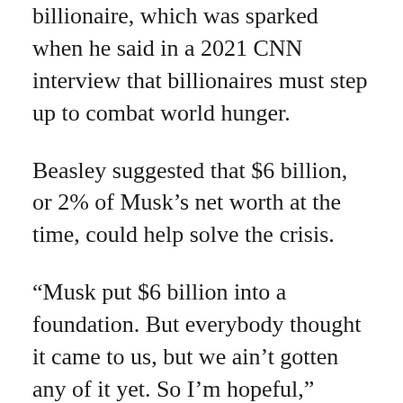billionaire, which was sparked when he said in a 2021 CNN interview that billionaires must step up to combat world hunger.
Beasley suggested that $6 billion, or 2% of Musk’s net worth at the time, could help solve the crisis.
“Musk put $6 billion into a foundation. But everybody thought it came to us, but we ain’t gotten any of it yet. So I’m hopeful,” Beasley told the Associated Press at Davos.
Musk then replied to Beasley, tweeting that he would sell Tesla stock “right now” if the food agency could show $6 billion would help.